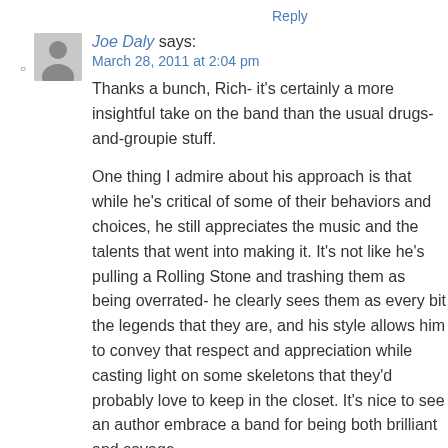Reply
Joe Daly says:
March 28, 2011 at 2:04 pm
Thanks a bunch, Rich- it's certainly a more insightful take on the band than the usual drugs-and-groupie stuff.

One thing I admire about his approach is that while he's critical of some of their behaviors and choices, he still appreciates the music and the talents that went into making it. It's not like he's pulling a Rolling Stone and trashing them as being overrated- he clearly sees them as every bit the legends that they are, and his style allows him to convey that respect and appreciation while casting light on some skeletons that they'd probably love to keep in the closet. It's nice to see an author embrace a band for being both brilliant and savage.

We'll have to keep our grapes peeled for the Joe